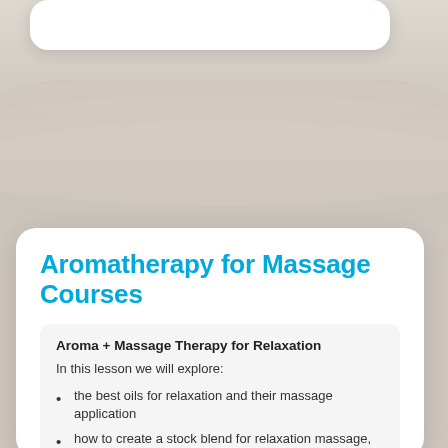[Figure (illustration): Decorative background with swooping curved shapes in beige/taupe tones and a white rounded card at the top]
Aromatherapy for Massage Courses
Aroma + Massage Therapy for Relaxation
In this lesson we will explore:
the best oils for relaxation and their massage application
how to create a stock blend for relaxation massage, with recipes ideas, plus tips and